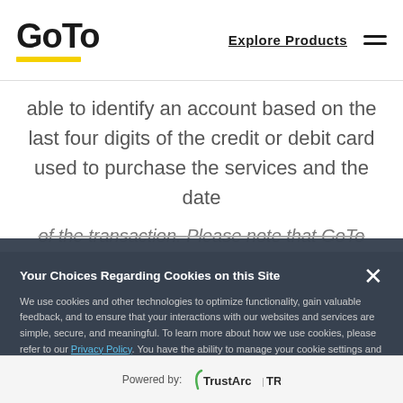GoTo — Explore Products
able to identify an account based on the last four digits of the credit or debit card used to purchase the services and the date of the transaction. Please note that GoTo does not possess any credit or debit card
Your Choices Regarding Cookies on this Site
We use cookies and other technologies to optimize functionality, gain valuable feedback, and to ensure that your interactions with our websites and services are simple, secure, and meaningful. To learn more about how we use cookies, please refer to our Privacy Policy. You have the ability to manage your cookie settings and preferences by clicking "Change Settings." Otherwise, clicking "Accept Recommended Settings" indicates that you agree to our use of cookies on your device.
the service offering such as session ID, IP address, telephone number, meeting ID, account holder, etc.
Each request must also include contact
Change Settings
Accept Recommended Settings
Powered by: TrustArc | TRUSTe